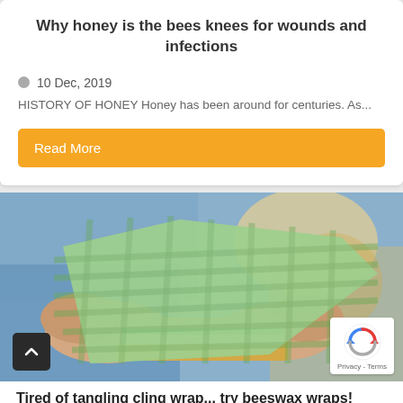Why honey is the bees knees for wounds and infections
10 Dec, 2019
HISTORY OF HONEY Honey has been around for centuries. As...
Read More
[Figure (photo): Hands holding a green gingham checked fabric/beeswax wrap around a sandwich, person wearing blue shirt, blurred background]
Tired of tangling cling wrap... try beeswax wraps!